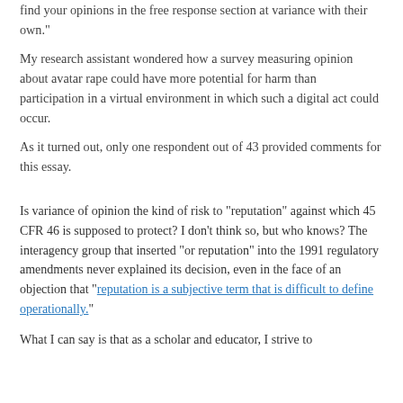find your opinions in the free response section at variance with their own."
My research assistant wondered how a survey measuring opinion about avatar rape could have more potential for harm than participation in a virtual environment in which such a digital act could occur.
As it turned out, only one respondent out of 43 provided comments for this essay.
Is variance of opinion the kind of risk to "reputation" against which 45 CFR 46 is supposed to protect? I don't think so, but who knows? The interagency group that inserted "or reputation" into the 1991 regulatory amendments never explained its decision, even in the face of an objection that "reputation is a subjective term that is difficult to define operationally."
What I can say is that as a scholar and educator, I strive to